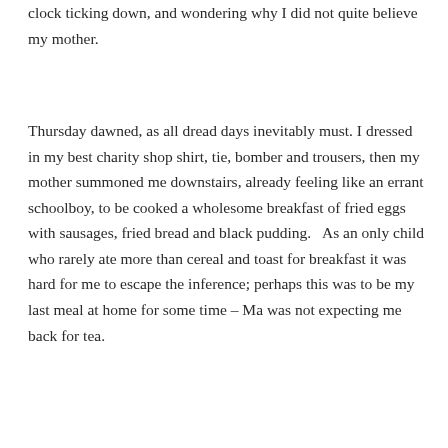clock ticking down, and wondering why I did not quite believe my mother.
Thursday dawned, as all dread days inevitably must. I dressed in my best charity shop shirt, tie, bomber and trousers, then my mother summoned me downstairs, already feeling like an errant schoolboy, to be cooked a wholesome breakfast of fried eggs with sausages, fried bread and black pudding.   As an only child who rarely ate more than cereal and toast for breakfast it was hard for me to escape the inference; perhaps this was to be my last meal at home for some time – Ma was not expecting me back for tea.